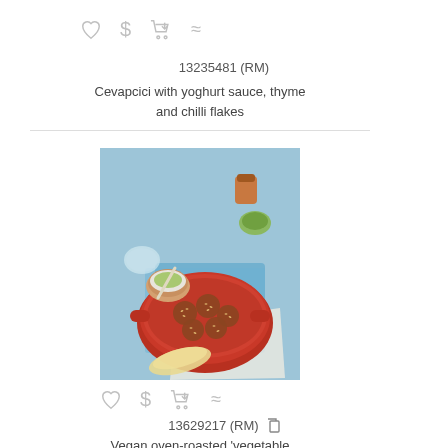[Figure (other): Icon row: heart, dollar sign, cart download, approximate sign]
13235481 (RM)
Cevapcici with yoghurt sauce, thyme and chilli flakes
[Figure (photo): Food photo: overhead view of a red braising dish with meatballs in tomato sauce, garnished with sesame seeds, on a blue background with small bowls of condiments and flatbread]
[Figure (other): Icon row: heart, dollar sign, cart download, approximate sign]
13629217 (RM)
Vegan oven-roasted 'vegetable cevancici' with soy tzatziki